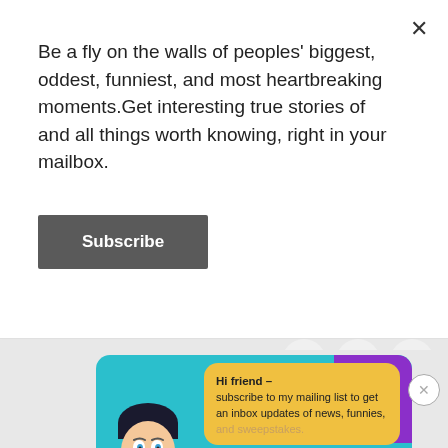Be a fly on the walls of peoples' biggest, oddest, funniest, and most heartbreaking moments.Get interesting true stories of and all things worth knowing, right in your mailbox.
Subscribe
Fame
[Figure (infographic): Three social media icons in grey circles: Facebook (f), Twitter (bird), LinkedIn (in)]
[Figure (illustration): Teal card with purple corner accent, cartoon face illustration on left, yellow speech bubble on right with text: Hi friend — subscribe to my mailing list to get an inbox updates of news, funnies, and sweepstakes. Bottom-right has a close X button.]